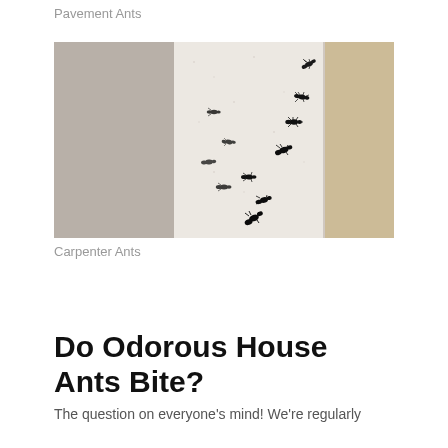Pavement Ants
[Figure (photo): Close-up black and white photograph of carpenter ants crawling along the edge of a white surface or wall, with a blurred warm-toned background.]
Carpenter Ants
Do Odorous House Ants Bite?
The question on everyone's mind! We're regularly